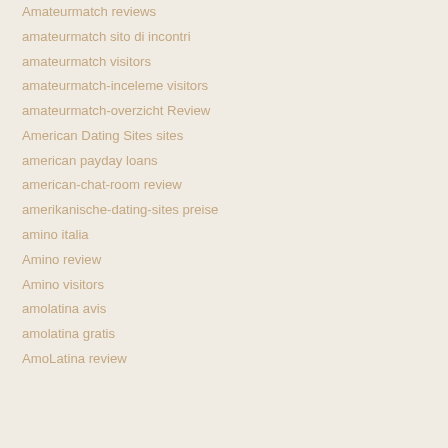Amateurmatch reviews
amateurmatch sito di incontri
amateurmatch visitors
amateurmatch-inceleme visitors
amateurmatch-overzicht Review
American Dating Sites sites
american payday loans
american-chat-room review
amerikanische-dating-sites preise
amino italia
Amino review
Amino visitors
amolatina avis
amolatina gratis
AmoLatina review